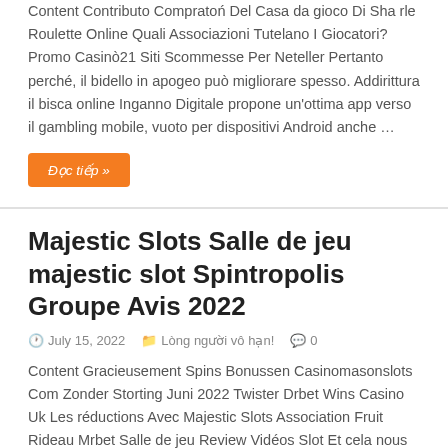Content Contributo Compratoń Del Casa da gioco Di Sha rle Roulette Online Quali Associazioni Tutelano I Giocatori? Promo Casinò21 Siti Scommesse Per Neteller Pertanto perché, il bidello in apogeo può migliorare spesso. Addirittura il bisca online Inganno Digitale propone un'ottima app verso il gambling mobile, vuoto per dispositivi Android anche …
Đọc tiếp »
Majestic Slots Salle de jeu majestic slot Spintropolis Groupe Avis 2022
July 15, 2022  Lòng người vô hạn!  0
Content Gracieusement Spins Bonussen Casinomasonslots Com Zonder Storting Juni 2022 Twister Drbet Wins Casino Uk Les réductions Avec Majestic Slots Association Fruit Rideau Mrbet Salle de jeu Review Vidéos Slot Et cela nous assure le majestic slot connaissance du jeu d'action entezndu sur les blasons drôles sans oublier les grande …
Đọc tiếp »